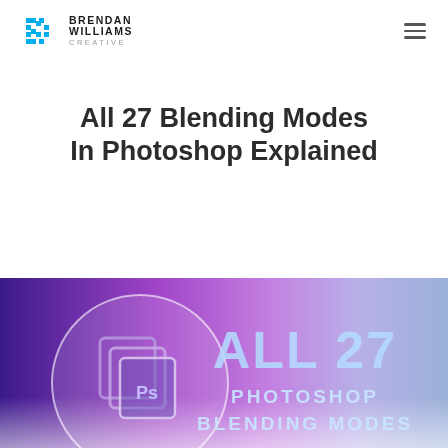Brendan Williams Creative
All 27 Blending Modes In Photoshop Explained
[Figure (illustration): Promotional banner with purple-to-blue gradient background, Photoshop layers icon in a circle on the left, and bold text reading 'ALL 27 PHOTOSHOP BLENDING MODES' on the right in light blue/white.]